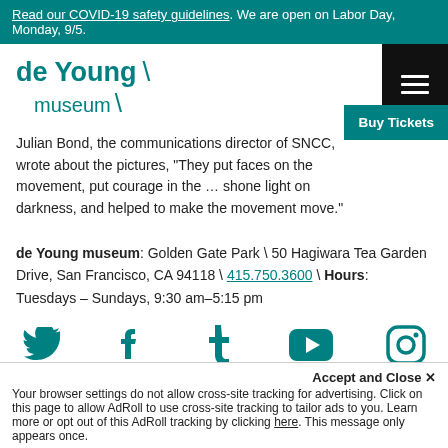Read our COVID-19 safety guidelines. We are open on Labor Day, Monday, 9/5.
de Young museum
Julian Bond, the communications director of SNCC, wrote about the pictures, "They put faces on the movement, put courage in the … shone light on darkness, and helped to make the movement move."
de Young museum: Golden Gate Park \ 50 Hagiwara Tea Garden Drive, San Francisco, CA 94118 \ 415.750.3600 \ Hours: Tuesdays – Sundays, 9:30 am–5:15 pm
[Figure (infographic): Social media icons: Twitter, Facebook, Tumblr, YouTube, Instagram in teal]
Accept and Close ✕
Your browser settings do not allow cross-site tracking for advertising. Click on this page to allow AdRoll to use cross-site tracking to tailor ads to you. Learn more or opt out of this AdRoll tracking by clicking here. This message only appears once.